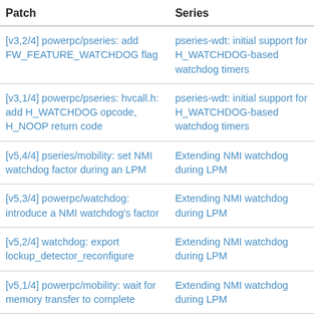| Patch | Series |
| --- | --- |
| [v3,2/4] powerpc/pseries: add FW_FEATURE_WATCHDOG flag | pseries-wdt: initial support for H_WATCHDOG-based watchdog timers |
| [v3,1/4] powerpc/pseries: hvcall.h: add H_WATCHDOG opcode, H_NOOP return code | pseries-wdt: initial support for H_WATCHDOG-based watchdog timers |
| [v5,4/4] pseries/mobility: set NMI watchdog factor during an LPM | Extending NMI watchdog during LPM |
| [v5,3/4] powerpc/watchdog: introduce a NMI watchdog's factor | Extending NMI watchdog during LPM |
| [v5,2/4] watchdog: export lockup_detector_reconfigure | Extending NMI watchdog during LPM |
| [v5,1/4] powerpc/mobility: wait for memory transfer to complete | Extending NMI watchdog during LPM |
| [v8,15/15] arm64: dts: freescale: imx8qxp: Fix the keys node name | dt-bindings: arm: freescale: Switch fsl,scu from txt to yaml |
| [v8,14/15] arm64: dts: freescale: imx8: Fix the system-controller node name | dt-bindings: arm: freescale: Switch fsl,scu from txt to yaml |